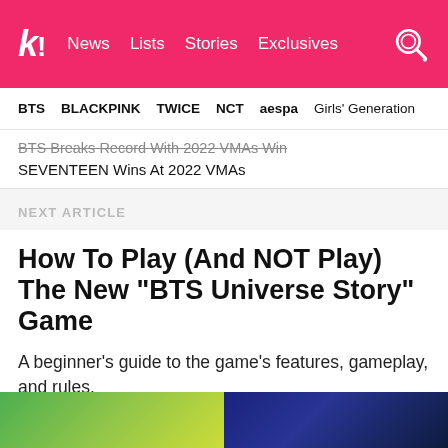k! News  Lists  Stories  Exclusives
BTS  BLACKPINK  TWICE  NCT  aespa  Girls' Generation
BTS Breaks Record With 2022 VMAs Win
SEVENTEEN Wins At 2022 VMAs
NEXT ARTICLE
How To Play (And NOT Play) The New “BTS Universe Story” Game
A beginner’s guide to the game’s features, gameplay, and rules.
[Figure (photo): Two thumbnail images at the bottom of the page — left showing a green/yellow nature scene, right showing a dark blue/purple galaxy or night scene]